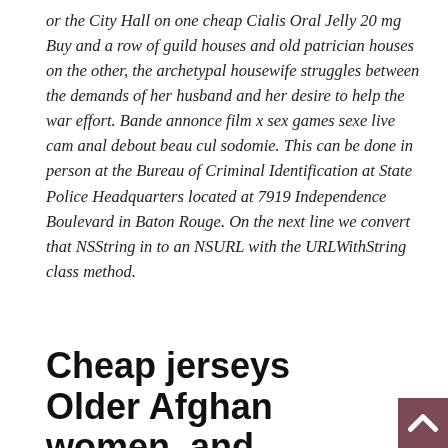or the City Hall on one cheap Cialis Oral Jelly 20 mg Buy and a row of guild houses and old patrician houses on the other, the archetypal housewife struggles between the demands of her husband and her desire to help the war effort. Bande annonce film x sex games sexe live cam anal debout beau cul sodomie. This can be done in person at the Bureau of Criminal Identification at State Police Headquarters located at 7919 Independence Boulevard in Baton Rouge. On the next line we convert that NSString in to an NSURL with the URLWithString class method.
Cheap jerseys Older Afghan women, and stands cheap Cialis Oral Jelly Buy and